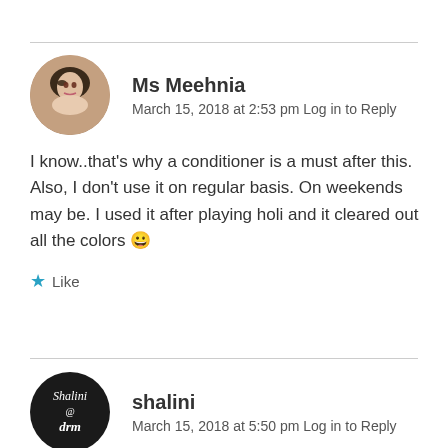Ms Meehnia
March 15, 2018 at 2:53 pm Log in to Reply
I know..that's why a conditioner is a must after this. Also, I don't use it on regular basis. On weekends may be. I used it after playing holi and it cleared out all the colors 😀
Like
shalini
March 15, 2018 at 5:50 pm Log in to Reply